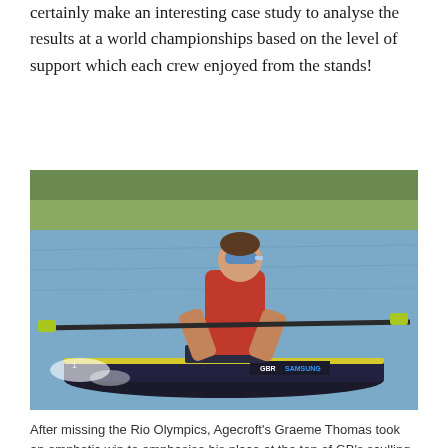certainly make an interesting case study to analyse the results at a world championships based on the level of support which each crew enjoyed from the stands!
[Figure (photo): A rower wearing a red sleeveless top and blue goggles sculling on a lake. The boat has GBR and Samsung branding visible on the side. Oars are extended. Background shows water and trees.]
After missing the Rio Olympics, Agecroft's Graeme Thomas took an emphatic win to emphasise his place at the top of GB's sculling elite. © Photo: Robert Treharne Jones